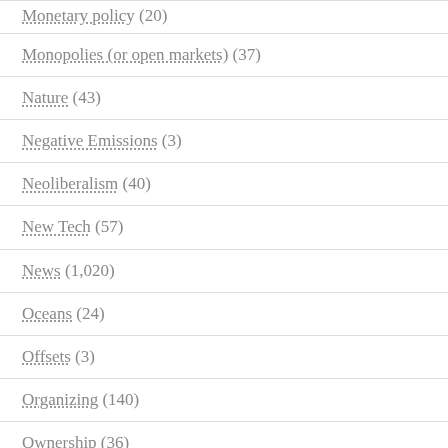Monetary policy (20)
Monopolies (or open markets) (37)
Nature (43)
Negative Emissions (3)
Neoliberalism (40)
New Tech (57)
News (1,020)
Oceans (24)
Offsets (3)
Organizing (140)
Ownership (36)
P2P (12)